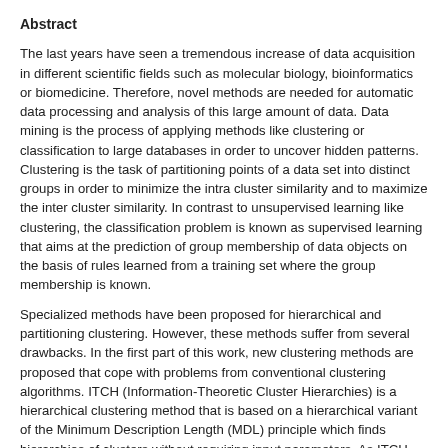Abstract
The last years have seen a tremendous increase of data acquisition in different scientific fields such as molecular biology, bioinformatics or biomedicine. Therefore, novel methods are needed for automatic data processing and analysis of this large amount of data. Data mining is the process of applying methods like clustering or classification to large databases in order to uncover hidden patterns. Clustering is the task of partitioning points of a data set into distinct groups in order to minimize the intra cluster similarity and to maximize the inter cluster similarity. In contrast to unsupervised learning like clustering, the classification problem is known as supervised learning that aims at the prediction of group membership of data objects on the basis of rules learned from a training set where the group membership is known.
Specialized methods have been proposed for hierarchical and partitioning clustering. However, these methods suffer from several drawbacks. In the first part of this work, new clustering methods are proposed that cope with problems from conventional clustering algorithms. ITCH (Information-Theoretic Cluster Hierarchies) is a hierarchical clustering method that is based on a hierarchical variant of the Minimum Description Length (MDL) principle which finds hierarchies of clusters without requiring input parameters. As ITCH may converge only to a local optimum we propose GACH (Genetic Algorithm for Finding Cluster Hierarchies) that combines the benefits from genetic algorithms with information-theory. In this way the search space is explored more effectively.
Furthermore, we propose INTEGRATE, a novel clustering method for data with